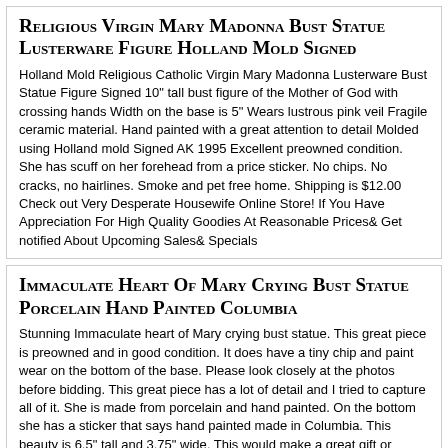Religious Virgin Mary Madonna Bust Statue Lusterware Figure Holland Mold Signed
Holland Mold Religious Catholic Virgin Mary Madonna Lusterware Bust Statue Figure Signed 10" tall bust figure of the Mother of God with crossing hands Width on the base is 5" Wears lustrous pink veil Fragile ceramic material. Hand painted with a great attention to detail Molded using Holland mold Signed AK 1995 Excellent preowned condition. She has scuff on her forehead from a price sticker. No chips. No cracks, no hairlines. Smoke and pet free home. Shipping is $12.00 Check out Very Desperate Housewife Online Store! If You Have Appreciation For High Quality Goodies At Reasonable Prices& Get notified About Upcoming Sales& Specials
Immaculate Heart Of Mary Crying Bust Statue Porcelain Hand Painted Columbia
Stunning Immaculate heart of Mary crying bust statue. This great piece is preowned and in good condition. It does have a tiny chip and paint wear on the bottom of the base. Please look closely at the photos before bidding. This great piece has a lot of detail and I tried to capture all of it. She is made from porcelain and hand painted. On the bottom she has a sticker that says hand painted made in Columbia. This beauty is 6.5" tall and 3.75" wide. This would make a great gift or collection piece. Please look at all the pictures as they are part of my description. I do my best to describe each item in detail and provide pictures that feature any defects or issues that I am aware of. I ask that all items be paid for within 1 day after auction ends. Unless you are bidding on another item ending within the next few days, you can add them...